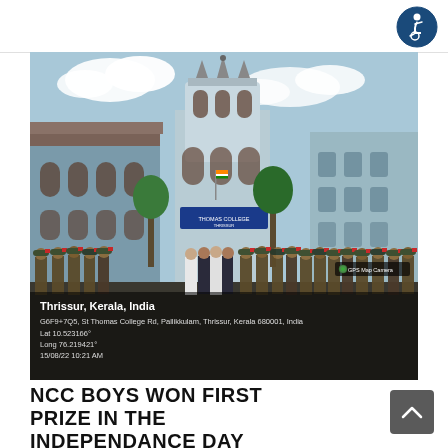[Figure (photo): NCC cadets in uniform with red berets posing in front of St Thomas College, Thrissur, Kerala. The colonial-style blue and white building with a prominent tower is visible in the background. GPS overlay shows: Thrissur, Kerala, India; G6F9+7Q5, St Thomas College Rd, Pallikkulam, Thrissur, Kerala 680001, India; Lat 10.523166°; Long 76.219421°; 15/08/22 10:21 AM]
NCC BOYS WON FIRST PRIZE IN THE INDEPENDANCE DAY PARADE HELD IN